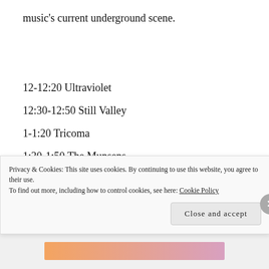music's current underground scene.
12-12:20 Ultraviolet
12:30-12:50 Still Valley
1-1:20 Tricoma
1:30-1:50 The Munsens
2-2:20 Innoculated Life
2:30-2:50 Scepter
Privacy & Cookies: This site uses cookies. By continuing to use this website, you agree to their use.
To find out more, including how to control cookies, see here: Cookie Policy
Close and accept